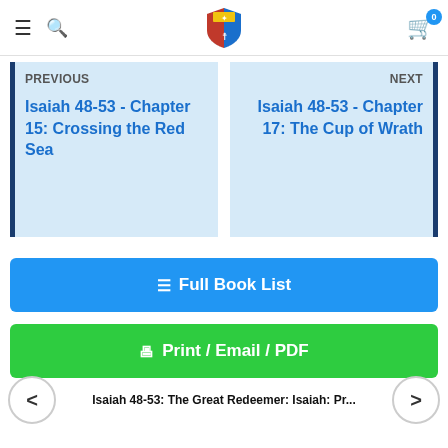Navigation header with hamburger menu, search icon, shield logo, and cart (0)
PREVIOUS
Isaiah 48-53 - Chapter 15: Crossing the Red Sea
NEXT
Isaiah 48-53 - Chapter 17: The Cup of Wrath
Full Book List
Print / Email / PDF
Isaiah 48-53: The Great Redeemer: Isaiah: Pr...